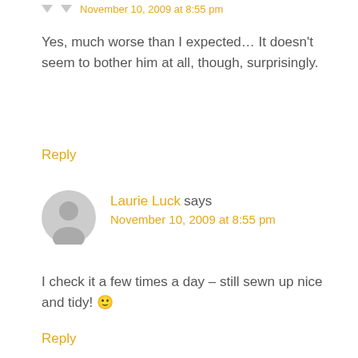November 10, 2009 at 8:55 pm
Yes, much worse than I expected… It doesn't seem to bother him at all, though, surprisingly.
Reply
Laurie Luck says November 10, 2009 at 8:55 pm
I check it a few times a day – still sewn up nice and tidy! 🙂
Reply